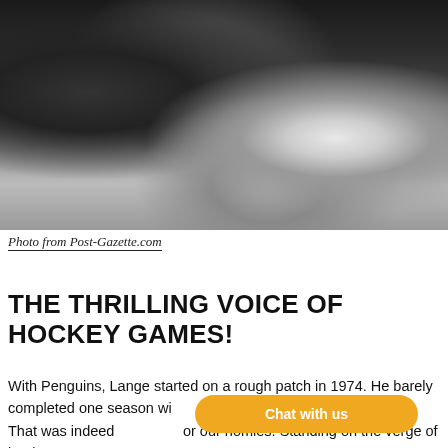[Figure (photo): Black and white photograph of a person working at what appears to be a broadcasting or communications console with equipment and papers]
Photo from Post-Gazette.com
THE THRILLING VOICE OF HOCKEY GAMES!
With Penguins, Lange started on a rough patch in 1974. He barely completed one season with them and very soon, he hit an exit. That was indeed not good for our homies. Standing on the verge of bankruptcy,